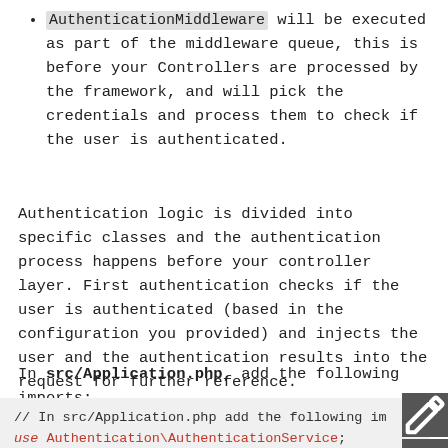AuthenticationMiddleware will be executed as part of the middleware queue, this is before your Controllers are processed by the framework, and will pick the credentials and process them to check if the user is authenticated.
Authentication logic is divided into specific classes and the authentication process happens before your controller layer. First authentication checks if the user is authenticated (based in the configuration you provided) and injects the user and the authentication results into the request for further reference.
In src/Application.php, add the following imports:
[Figure (screenshot): Code block showing PHP use statements: // In src/Application.php add the following im
use Authentication\AuthenticationService;
use Authentication\AuthenticationServiceInterf
use Authentication\AuthenticationServiceProvid]